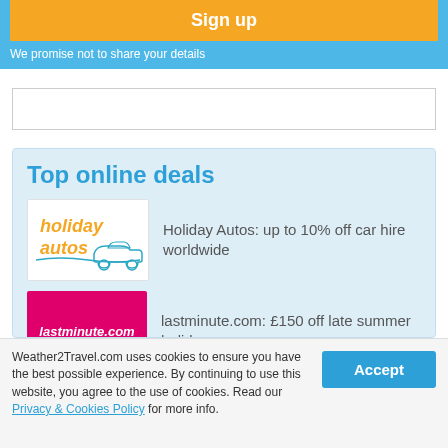Sign up
We promise not to share your details
[Figure (other): Advertisement placeholder banner, white with grey border]
Top online deals
[Figure (logo): Holiday Autos logo: orange text 'holiday autos' with teal car outline on white background]
Holiday Autos: up to 10% off car hire worldwide
[Figure (logo): lastminute.com logo: white italic bold text on magenta/pink background]
lastminute.com: £150 off late summer holidays
[Figure (logo): Saga Holidays logo placeholder: light teal/blue background]
Saga Holidays sale: up to £350pp off
Weather2Travel.com uses cookies to ensure you have the best possible experience. By continuing to use this website, you agree to the use of cookies. Read our Privacy & Cookies Policy for more info.